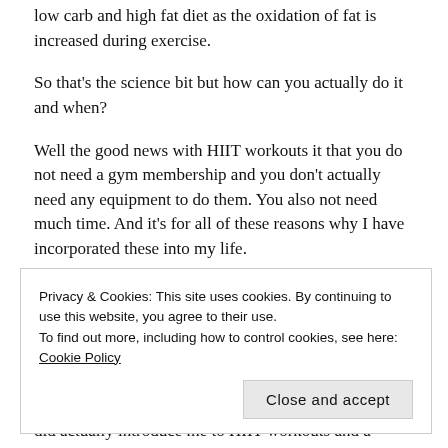low carb and high fat diet as the oxidation of fat is increased during exercise.
So that's the science bit but how can you actually do it and when?
Well the good news with HIIT workouts it that you do not need a gym membership and you don't actually need any equipment to do them. You also not need much time. And it's for all of these reasons why I have incorporated these into my life.
As you may have gathered by now time is seriously
Privacy & Cookies: This site uses cookies. By continuing to use this website, you agree to their use.
To find out more, including how to control cookies, see here: Cookie Policy
did actually introduce me to HIIT workouts and a